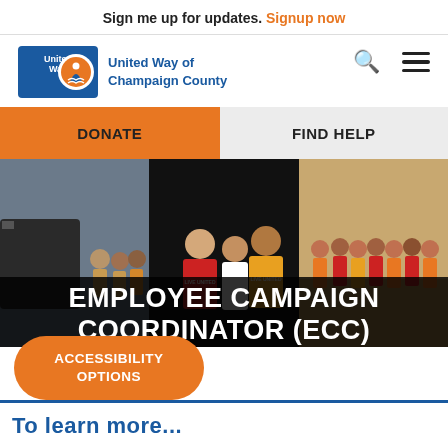Sign me up for updates. Signup now
[Figure (logo): United Way of Champaign County logo — blue and orange circular emblem with people figure, next to text 'United Way of Champaign County']
DONATE
FIND HELP
[Figure (photo): Three-panel photo strip: left panel shows people holding yellow t-shirts in front of a train, center panel shows people in red and yellow 'LIVE UNITED' shirts, right panel shows a group of volunteers in red and yellow shirts]
EMPLOYEE CAMPAIGN COORDINATOR (ECC)
ACCESSIBILITY OPTIONS
To learn more...